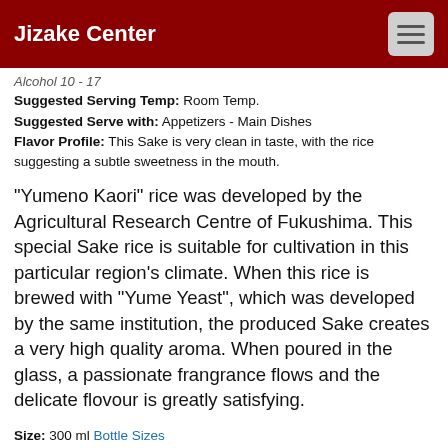Jizake Center
Alcohol 10 - 17
Suggested Serving Temp: Room Temp.
Suggested Serve with: Appetizers - Main Dishes
Flavor Profile: This Sake is very clean in taste, with the rice suggesting a subtle sweetness in the mouth.
"Yumeno Kaori" rice was developed by the Agricultural Research Centre of Fukushima. This special Sake rice is suitable for cultivation in this particular region's climate. When this rice is brewed with "Yume Yeast", which was developed by the same institution, the produced Sake creates a very high quality aroma. When poured in the glass, a passionate frangrance flows and the delicate flovour is greatly satisfying.
Size: 300 ml Bottle Sizes
Price: US$13.00